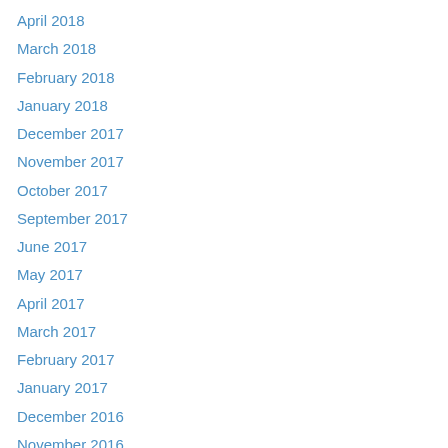April 2018
March 2018
February 2018
January 2018
December 2017
November 2017
October 2017
September 2017
June 2017
May 2017
April 2017
March 2017
February 2017
January 2017
December 2016
November 2016
October 2016
September 2016
August 2016
July 2016